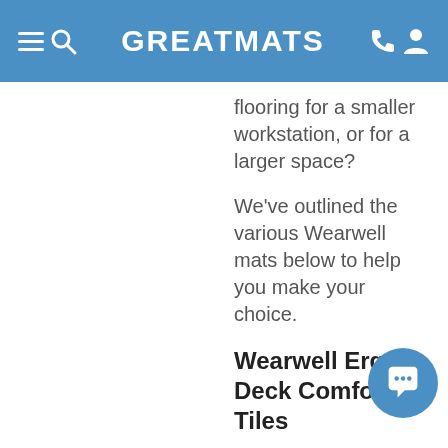GREATMATS
flooring for a smaller workstation, or for a larger space?
We've outlined the various Wearwell mats below to help you make your choice.
Wearwell Ergo Deck Comfort Tiles
Wearwell ErgoDeck Comfort Tiles are ideal for areas where there is high foot traffic, but no cart traffic. These